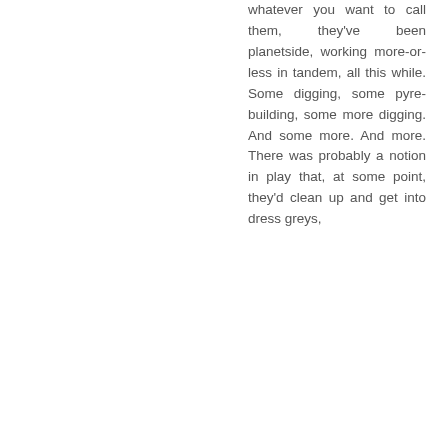whatever you want to call them, they've been planetside, working more-or-less in tandem, all this while. Some digging, some pyre-building, some more digging. And some more. And more. There was probably a notion in play that, at some point, they'd clean up and get into dress greys,